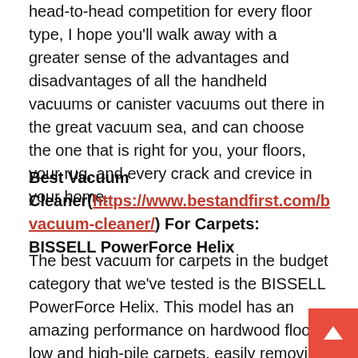head-to-head competition for every floor type, I hope you'll walk away with a greater sense of the advantages and disadvantages of all the handheld vacuums or canister vacuums out there in the great vacuum sea, and can choose the one that is right for you, your floors, your rug, and every crack and crevice in your home.
Best Vacuum Cleaner(https://www.bestandfirst.com/best-vacuum-cleaner/) For Carpets: BISSELL PowerForce Helix
The best vacuum for carpets in the budget category that we've tested is the BISSELL PowerForce Helix. This model has an amazing performance on hardwood floors, low and high-pile carpets, easily removing pet hair and clearing most debris like sand and baking soda, so it's very helpful for pet owners who are allergy sufferers. There are also five surface-type adjustments